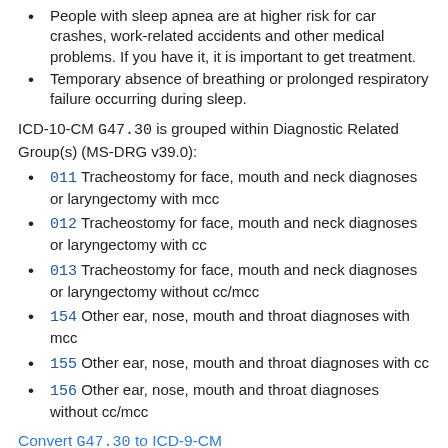People with sleep apnea are at higher risk for car crashes, work-related accidents and other medical problems. If you have it, it is important to get treatment.
Temporary absence of breathing or prolonged respiratory failure occurring during sleep.
ICD-10-CM G47.30 is grouped within Diagnostic Related Group(s) (MS-DRG v39.0):
011 Tracheostomy for face, mouth and neck diagnoses or laryngectomy with mcc
012 Tracheostomy for face, mouth and neck diagnoses or laryngectomy with cc
013 Tracheostomy for face, mouth and neck diagnoses or laryngectomy without cc/mcc
154 Other ear, nose, mouth and throat diagnoses with mcc
155 Other ear, nose, mouth and throat diagnoses with cc
156 Other ear, nose, mouth and throat diagnoses without cc/mcc
Convert G47.30 to ICD-9-CM
Code History
2016 (effective 10/1/2015): New code (first year of non-draft ICD-10-CM)
2017 (effective 10/1/2016): No change
2018 (effective 10/1/2017): No change